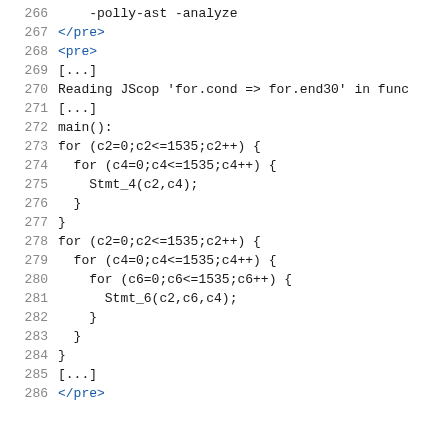266    -polly-ast -analyze
267    </pre>
268    <pre>
269    [...]
270    Reading JScop 'for.cond =&gt; for.end30' in func
271    [...]
272    main():
273    for (c2=0;c2&lt;=1535;c2++) {
274      for (c4=0;c4&lt;=1535;c4++) {
275        Stmt_4(c2,c4);
276      }
277    }
278    for (c2=0;c2&lt;=1535;c2++) {
279      for (c4=0;c4&lt;=1535;c4++) {
280        for (c6=0;c6&lt;=1535;c6++) {
281          Stmt_6(c2,c6,c4);
282        }
283      }
284    }
285    [...]
286    </pre>